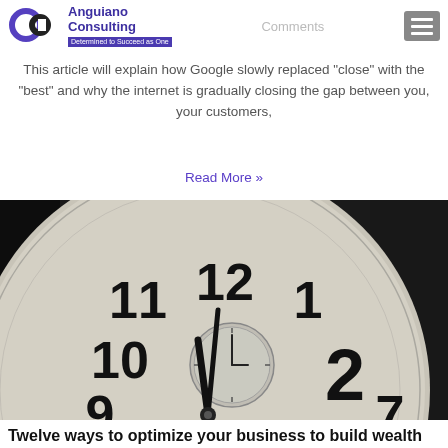Anguiano Consulting — Determined to Succeed as One
This article will explain how Google slowly replaced "close" with the "best" and why the internet is gradually closing the gap between you, your customers,
Read More »
[Figure (photo): Close-up black and white photograph of an analog clock face showing numbers 9, 10, 11, 12, 1, 2 and clock hands pointing near 12:00]
Twelve ways to optimize your business to build wealth